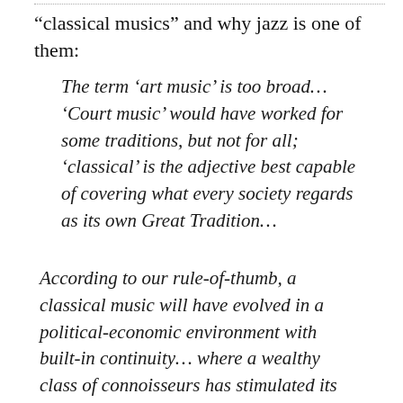“classical musics” and why jazz is one of them:
The term ‘art music’ is too broad… ‘Court music’ would have worked for some traditions, but not for all; ‘classical’ is the adjective best capable of covering what every society regards as its own Great Tradition…
According to our rule-of-thumb, a classical music will have evolved in a political-economic environment with built-in continuity… where a wealthy class of connoisseurs has stimulated its